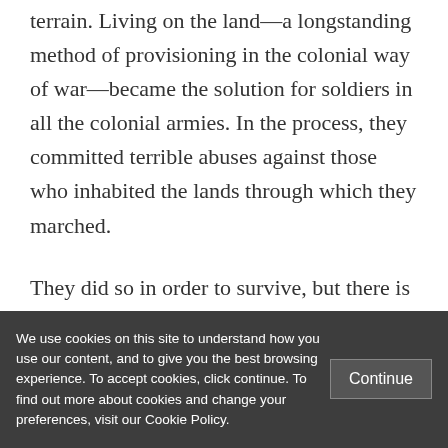terrain. Living on the land—a longstanding method of provisioning in the colonial way of war—became the solution for soldiers in all the colonial armies. In the process, they committed terrible abuses against those who inhabited the lands through which they marched.
They did so in order to survive, but there is more to it than that. Those who managed to survive and stayed on with their colonial
We use cookies on this site to understand how you use our content, and to give you the best browsing experience. To accept cookies, click continue. To find out more about cookies and change your preferences, visit our Cookie Policy.